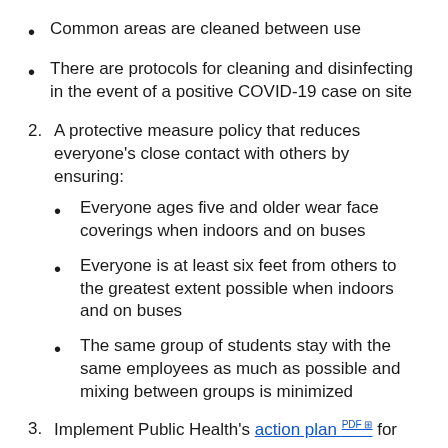Common areas are cleaned between use
There are protocols for cleaning and disinfecting in the event of a positive COVID-19 case on site
2. A protective measure policy that reduces everyone’s close contact with others by ensuring:
Everyone ages five and older wear face coverings when indoors and on buses
Everyone is at least six feet from others to the greatest extent possible when indoors and on buses
The same group of students stay with the same employees as much as possible and mixing between groups is minimized
3. Implement Public Health’s action plan PDF for